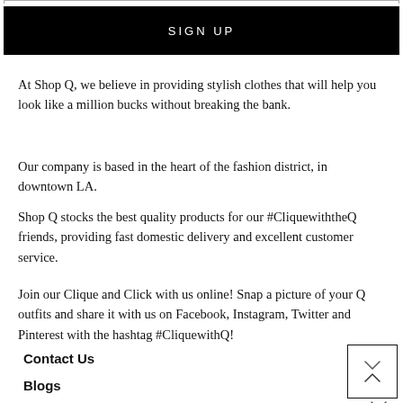SIGN UP
At Shop Q, we believe in providing stylish clothes that will help you look like a million bucks without breaking the bank.
Our company is based in the heart of the fashion district, in downtown LA.
Shop Q stocks the best quality products for our #CliquewiththeQ friends, providing fast domestic delivery and excellent customer service.
Join our Clique and Click with us online! Snap a picture of your Q outfits and share it with us on Facebook, Instagram, Twitter and Pinterest with the hashtag #CliquewithQ!
Contact Us
Blogs